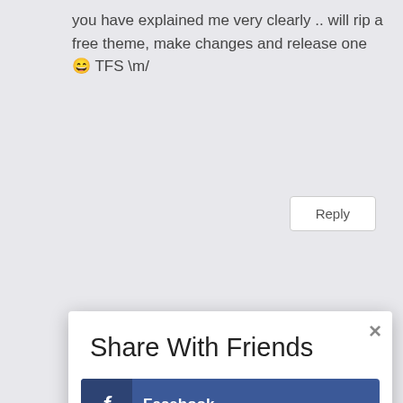you have explained me very clearly .. will rip a free theme, make changes and release one 😀 TFS \m/
Reply
Share With Friends
×
Facebook
Twitter
LinkedIn
Gmail